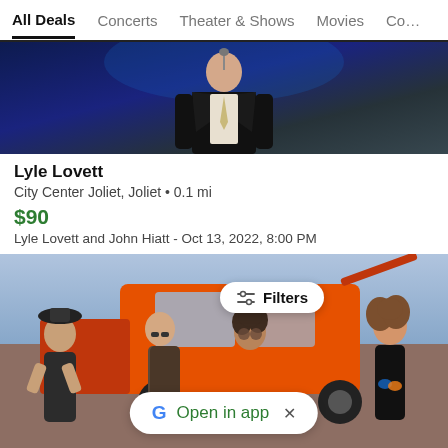All Deals  Concerts  Theater & Shows  Movies  Co…
[Figure (photo): Concert photo of a performer in a black suit and white tie on a dark stage with blue lighting]
Lyle Lovett
City Center Joliet, Joliet • 0.1 mi
$90
Lyle Lovett and John Hiatt - Oct 13, 2022, 8:00 PM
[Figure (photo): Band photo of four musicians standing in front of an orange vintage truck. A 'Filters' pill button and 'Open in app' banner overlay the image.]